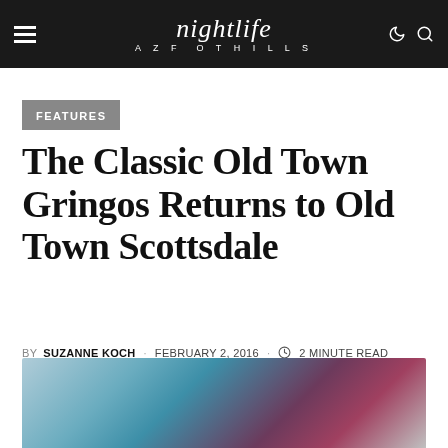nightlife AZFOOTHILLS
FEATURES
The Classic Old Town Gringos Returns to Old Town Scottsdale
BY SUZANNE KOCH · FEBRUARY 2, 2016 · 2 MINUTE READ
[Figure (photo): Blurred colorful background photo, teal/blue and red/maroon tones]